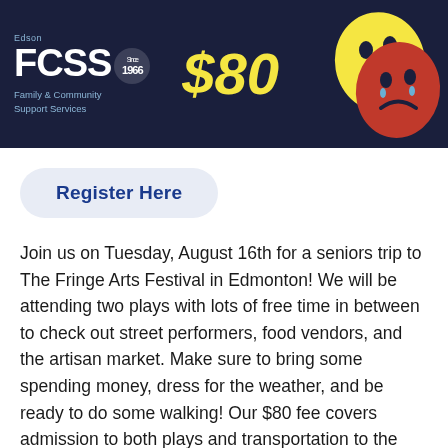[Figure (logo): Edson FCSS (Family & Community Support Services) banner with 'Since 1966' seal, '$80' in yellow italic text, and theatrical comedy/tragedy masks on dark navy background]
Register Here
Join us on Tuesday, August 16th for a seniors trip to The Fringe Arts Festival in Edmonton! We will be attending two plays with lots of free time in between to check out street performers, food vendors, and the artisan market. Make sure to bring some spending money, dress for the weather, and be ready to do some walking! Our $80 fee covers admission to both plays and transportation to the event from the Edson Leisure Centre. If cost is a barrier, please call 780-723-4403 to discuss your options, or check out our Leisure Assist program!